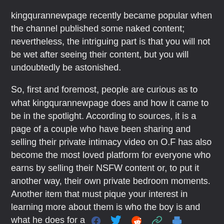kingqurannewpage recently became popular when the channel published some naked content; nevertheless, the intriguing part is that you will not be wet after seeing their content, but you will undoubtedly be astonished.
So, first and foremost, people are curious as to what kingqurannewpage does and how it came to be in the spotlight. According to sources, it is a page of a couple who have been sharing and selling their private intimacy video on O.F has also become the most loved platform for everyone who earns by selling their NSFW content or, to put it another way, their own private bedroom moments. Another item that must pique your interest in learning more about them is who the boy is and what he does for a [social share icons]